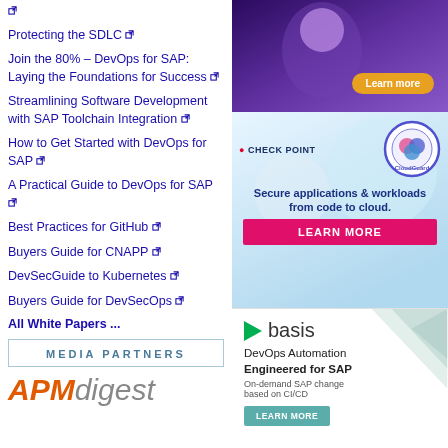[external link icon]
Protecting the SDLC [external link]
Join the 80% – DevOps for SAP: Laying the Foundations for Success [external link]
Streamlining Software Development with SAP Toolchain Integration [external link]
How to Get Started with DevOps for SAP [external link]
A Practical Guide to DevOps for SAP [external link]
Best Practices for GitHub [external link]
Buyers Guide for CNAPP [external link]
DevSecGuide to Kubernetes [external link]
Buyers Guide for DevSecOps [external link]
All White Papers ...
MEDIA PARTNERS
[Figure (logo): APMdigest logo in orange and grey]
[Figure (photo): Advertisement with purple gradient background and Learn more button]
[Figure (illustration): Check Point CloudGuard ad: Secure applications & workloads from code to cloud. LEARN MORE button.]
[Figure (illustration): Basis Technologies ad: DevOps Automation Engineered for SAP. On-demand SAP change based on CI/CD. LEARN MORE button.]